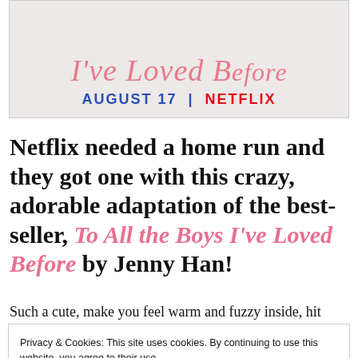[Figure (illustration): Netflix movie promotional banner with cursive pink text 'I've Loved Be...' and text 'AUGUST 17 | NETFLIX' in bold blue and red on a light background]
Netflix needed a home run and they got one with this crazy, adorable adaptation of the best-seller, To All the Boys I've Loved Before by Jenny Han!
Such a cute, make you feel warm and fuzzy inside, hit
Privacy & Cookies: This site uses cookies. By continuing to use this website, you agree to their use.
To find out more, including how to control cookies, see here: Cookie Policy
[Close and accept]